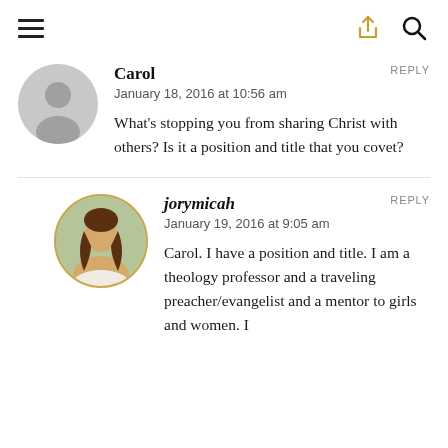[Figure (screenshot): Top navigation bar with hamburger menu icon on the left and share/search icons on the right]
Carol
January 18, 2016 at 10:56 am
What's stopping you from sharing Christ with others? Is it a position and title that you covet?
jorymicah
January 19, 2016 at 9:05 am
Carol. I have a position and title. I am a theology professor and a traveling preacher/evangelist and a mentor to girls and women. I